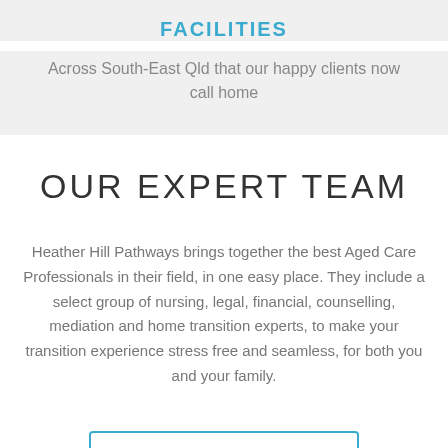FACILITIES
Across South-East Qld that our happy clients now call home
OUR EXPERT TEAM
Heather Hill Pathways brings together the best Aged Care Professionals in their field, in one easy place. They include a select group of nursing, legal, financial, counselling, mediation and home transition experts, to make your transition experience stress free and seamless, for both you and your family.
READ MORE ABOUT US